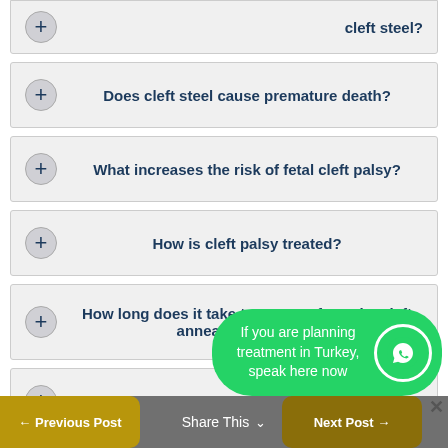cleft steel?
Does cleft steel cause premature death?
What increases the risk of fetal cleft palsy?
How is cleft palsy treated?
How long does it take to recover from the cleft annealing process?
Does cleft steel cause mental retardation?
If you are planning treatment in Turkey, speak here now
Share This  ← Previous Post  Next Post →